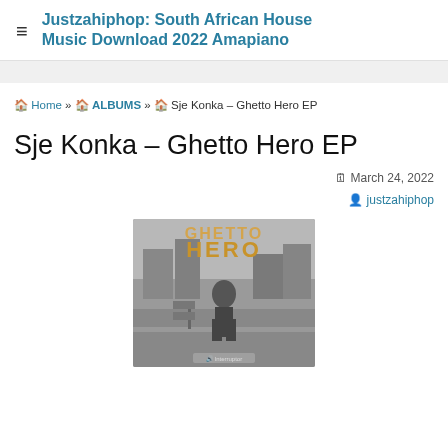Justzahiphop: South African House Music Download 2022 Amapiano
🏠 Home » 🏠 ALBUMS » 🏠 Sje Konka – Ghetto Hero EP
Sje Konka – Ghetto Hero EP
🗓 March 24, 2022
👤 justzahiphop
[Figure (photo): Album cover art for Sje Konka – Ghetto Hero EP showing text 'GHETTO HERO' in large letters with a person standing in a street scene, black and white/sepia toned image with Interruptor logo at bottom.]